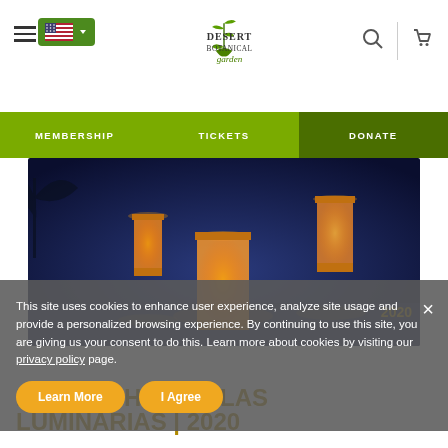Desert Botanical Garden — navigation header with logo, hamburger menu, flag selector, search and cart icons
MEMBERSHIP | TICKETS | DONATE
[Figure (photo): Luminarias glowing orange/amber against a deep blue twilight sky, three paper lantern-style luminarias visible]
This site uses cookies to enhance user experience, analyze site usage and provide a personalized browsing experience. By continuing to use this site, you are giving us your consent to do this. Learn more about cookies by visiting our privacy policy page.
LAS NOCHES DE LAS LUMINARIAS | 2020